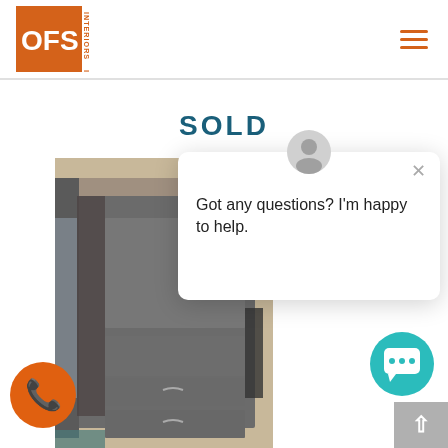[Figure (logo): OFS Interiors logo — orange square with white OFS text and INTERIORS in vertical text on the right side]
SOLD
[Figure (photo): Photo of gray/dark brown office furniture cabinet/credenza with drawers, partially wrapped in plastic packaging, in a warehouse or showroom setting]
[Figure (screenshot): Chat popup overlay with avatar icon, close X button, and text: Got any questions? I'm happy to help.]
[Figure (other): Orange circular phone/call button in bottom left]
[Figure (other): Teal circular chat widget button in bottom right]